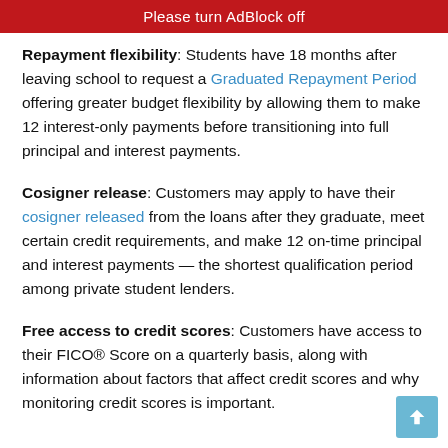Please turn AdBlock off
Repayment flexibility: Students have 18 months after leaving school to request a Graduated Repayment Period offering greater budget flexibility by allowing them to make 12 interest-only payments before transitioning into full principal and interest payments.
Cosigner release: Customers may apply to have their cosigner released from the loans after they graduate, meet certain credit requirements, and make 12 on-time principal and interest payments — the shortest qualification period among private student lenders.
Free access to credit scores: Customers have access to their FICO® Score on a quarterly basis, along with information about factors that affect credit scores and why monitoring credit scores is important.